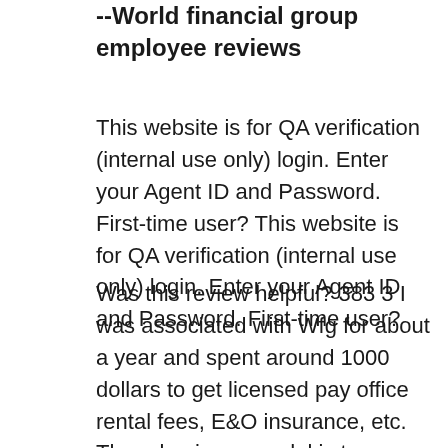--World financial group employee reviews
This website is for QA verification (internal use only) login. Enter your Agent ID and Password. First-time user? This website is for QA verification (internal use only) login. Enter your Agent ID and Password. First-time user?
Was this review helpful? 383 3 I was associated with Wfg for about a year and spent around 1000 dollars to get licensed pay office rental fees, E&O insurance, etc. There business model is to pressure your family and friends and random strangers into products they